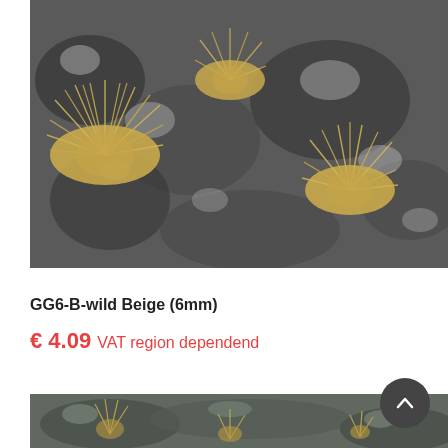[Figure (photo): Close-up photo of beige/yellow fluffy grass tufts (miniature terrain pieces) placed on dark grey rocky surface]
GG6-B-wild Beige (6mm)
€ 4.09 VAT region dependend
[Figure (photo): Photo of beige wild grass tufts on a rocky grey terrain base, partial view at bottom of page]